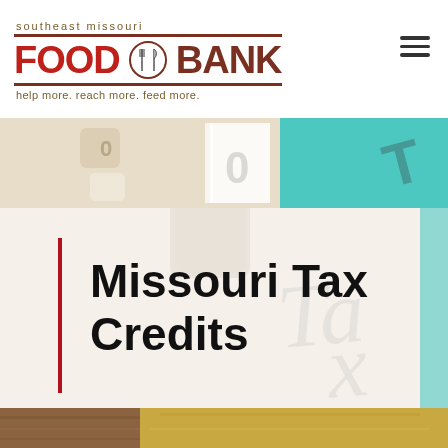[Figure (logo): Southeast Missouri Food Bank logo with tagline 'help more. reach more. feed more.']
[Figure (photo): Close-up photo of calculator keys and a tax document with teal and beige colors]
Missouri Tax Credits
[Figure (photo): Bottom strip showing wooden surface and golden/tan surface]